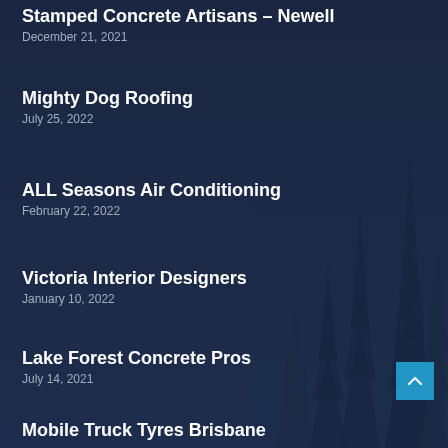Stamped Concrete Artisans – Newell
December 21, 2021
Mighty Dog Roofing
July 25, 2022
ALL Seasons Air Conditioning
February 22, 2022
Victoria Interior Designers
January 10, 2022
Lake Forest Concrete Pros
July 14, 2021
Mobile Truck Tyres Brisbane